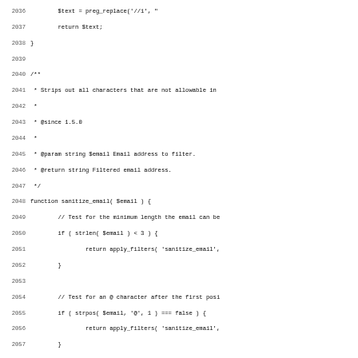PHP source code lines 2036-2067 showing sanitize_email function